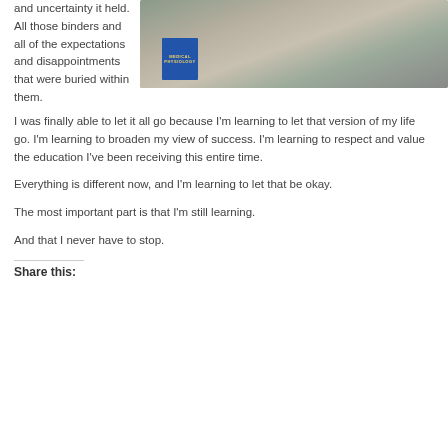and uncertainty it held. All those binders and all of the expectations and disappointments that were buried within them.
[Figure (photo): Person holding up a stack of papers/documents, with a blue Medical Physiology textbook visible in the background on a desk or shelf.]
I was finally able to let it all go because I'm learning to let that version of my life go. I'm learning to broaden my view of success. I'm learning to respect and value the education I've been receiving this entire time.
Everything is different now, and I'm learning to let that be okay.
The most important part is that I'm still learning.
And that I never have to stop.
Share this: